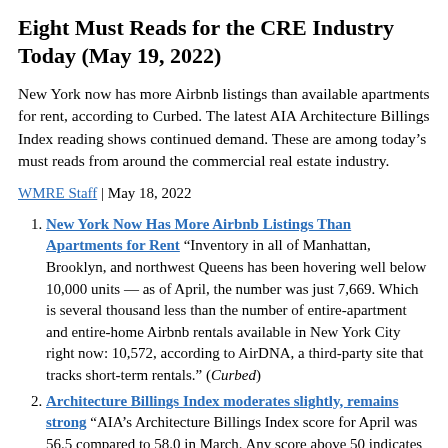Eight Must Reads for the CRE Industry Today (May 19, 2022)
New York now has more Airbnb listings than available apartments for rent, according to Curbed. The latest AIA Architecture Billings Index reading shows continued demand. These are among today’s must reads from around the commercial real estate industry.
WMRE Staff | May 18, 2022
New York Now Has More Airbnb Listings Than Apartments for Rent “Inventory in all of Manhattan, Brooklyn, and northwest Queens has been hovering well below 10,000 units — as of April, the number was just 7,669. Which is several thousand less than the number of entire-apartment and entire-home Airbnb rentals available in New York City right now: 10,572, according to AirDNA, a third-party site that tracks short-term rentals.” (Curbed)
Architecture Billings Index moderates slightly, remains strong “AIA’s Architecture Billings Index score for April was 56.5 compared to 58.0 in March. Any score above 50 indicates an increase in billings. During April, scores for both new project inquiries and design contracts moderated slightly, but remained strong, posting scores of 62.3 and